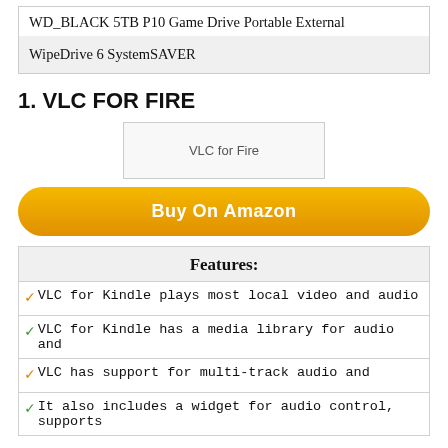| WD_BLACK 5TB P10 Game Drive Portable External |
| WipeDrive 6 SystemSAVER |
1. VLC FOR FIRE
[Figure (photo): VLC for Fire product image placeholder]
Buy On Amazon
Features:
VLC for Kindle plays most local video and audio
VLC for Kindle has a media library for audio and
VLC has support for multi-track audio and
It also includes a widget for audio control, supports
2. WD 4TB MY PASSPORT WIRELESS PRO PORTABLE EXTERNAL HARD DRIVE